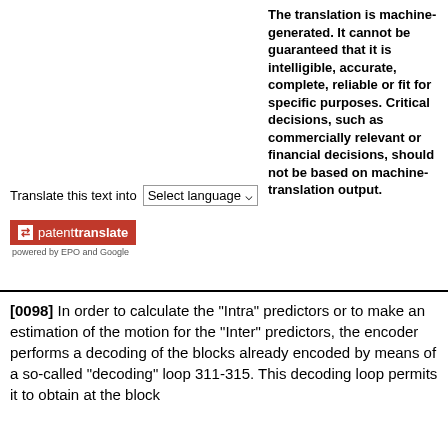The translation is machine-generated. It cannot be guaranteed that it is intelligible, accurate, complete, reliable or fit for specific purposes. Critical decisions, such as commercially relevant or financial decisions, should not be based on machine-translation output.
Translate this text into  Select language
[Figure (logo): Patent Translate badge with red background, arrows icon, and text 'patenttranslate powered by EPO and Google']
[0098] In order to calculate the "Intra" predictors or to make an estimation of the motion for the "Inter" predictors, the encoder performs a decoding of the blocks already encoded by means of a so-called "decoding" loop 311-315. This decoding loop permits it to obtain at the block...